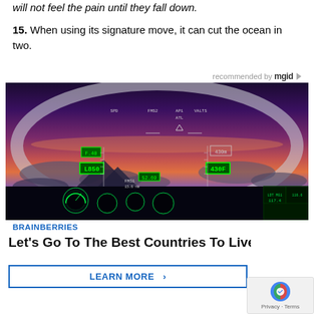will not feel the pain until they fall down.
15. When using its signature move, it can cut the ocean in two.
recommended by mgid
[Figure (photo): Cockpit view through windshield showing HUD (heads-up display) overlay with green instrument data over a twilight sky with clouds below.]
BRAINBERRIES
Let's Go To The Best Countries To Live I
LEARN MORE >
Privacy · Terms